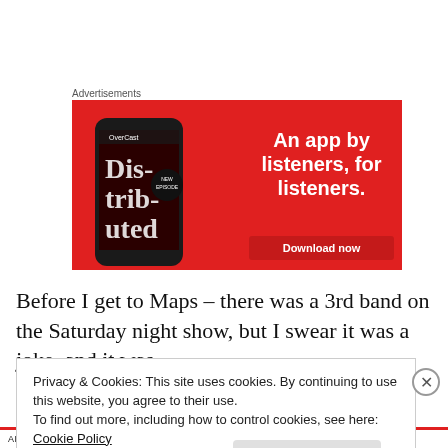Advertisements
[Figure (illustration): Red advertisement banner for a podcast app. Shows a smartphone with 'Distributed' text and the headline 'An app by listeners, for listeners.' with a 'Download now' button.]
Before I get to Maps – there was a 3rd band on the Saturday night show, but I swear it was a joke, and it was
Privacy & Cookies: This site uses cookies. By continuing to use this website, you agree to their use.
To find out more, including how to control cookies, see here: Cookie Policy
Close and accept